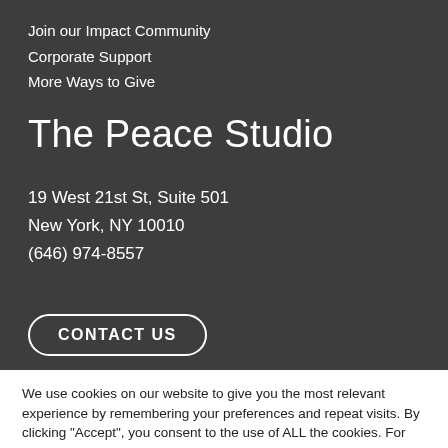Join our Impact Community
Corporate Support
More Ways to Give
The Peace Studio
19 West 21st St, Suite 501
New York, NY 10010
(646) 974-8557
CONTACT US
We use cookies on our website to give you the most relevant experience by remembering your preferences and repeat visits. By clicking “Accept”, you consent to the use of ALL the cookies. For more information, please check our Privacy Policy
Cookie Settings
Accept